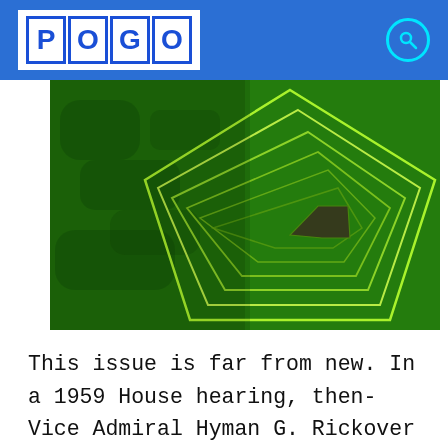POGO
[Figure (photo): Aerial photograph of the Pentagon building surrounded by green trees/vegetation, with concentric pentagon outlines visible in bright green/white lines on the right side of the image.]
This issue is far from new. In a 1959 House hearing, then-Vice Admiral Hyman G. Rickover put it this way, when asked about the influence of the revolving door: “I myself don’t get pressured by outsiders, but they do go higher up and get pressure